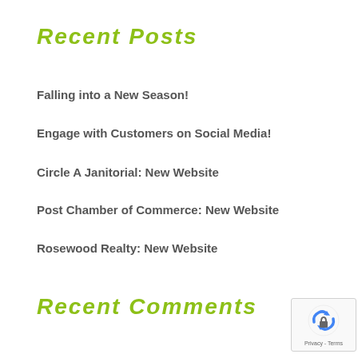Recent Posts
Falling into a New Season!
Engage with Customers on Social Media!
Circle A Janitorial: New Website
Post Chamber of Commerce: New Website
Rosewood Realty: New Website
Recent Comments
[Figure (logo): Google reCAPTCHA badge with recycling arrow icon and Privacy - Terms links]